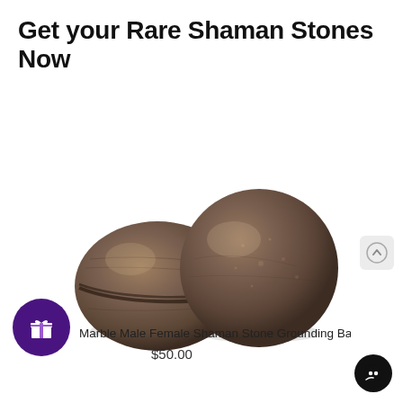Get your Rare Shaman Stones Now
[Figure (photo): Two Moqui marble (shaman) stones on white background: one disc-shaped female stone on the left and one spherical male stone on the right, both brown-gray in color.]
Marble Male Female Shaman Stone Grounding Ball P
$50.00